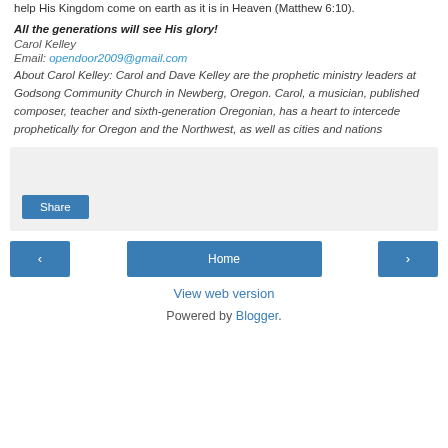help His Kingdom come on earth as it is in Heaven (Matthew 6:10).
All the generations will see His glory!
Carol Kelley
Email: opendoor2009@gmail.com
About Carol Kelley: Carol and Dave Kelley are the prophetic ministry leaders at Godsong Community Church in Newberg, Oregon. Carol, a musician, published composer, teacher and sixth-generation Oregonian, has a heart to intercede prophetically for Oregon and the Northwest, as well as cities and nations
[Figure (other): Share button widget area with light gray background]
< Home >
View web version
Powered by Blogger.